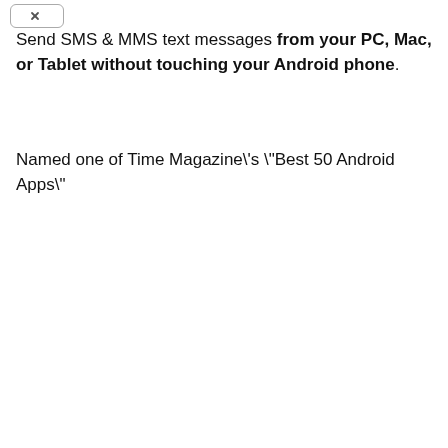[Figure (other): Small icon button with an X symbol in a rounded rectangle]
Send SMS & MMS text messages from your PC, Mac, or Tablet without touching your Android phone.
Named one of Time Magazine\'s \'Best 50 Android Apps\'